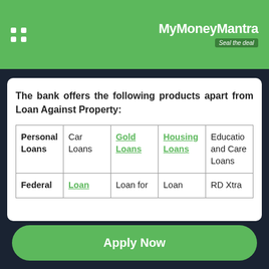MyMoneyMantra Seal the deal
The bank offers the following products apart from Loan Against Property:
|  |  |  |  |  |
| --- | --- | --- | --- | --- |
| Personal Loans | Car Loans | Gold Loans | Housing Loans | Education and Care Loans |
| Federal | Loan | Loan for | Loan | RD Xtra |
Apply Now